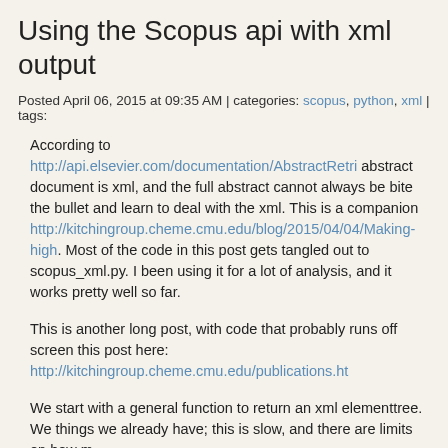Using the Scopus api with xml output
Posted April 06, 2015 at 09:35 AM | categories: scopus, python, xml | tags:
According to http://api.elsevier.com/documentation/AbstractRetri... abstract document is xml, and the full abstract cannot always be bite the bullet and learn to deal with the xml. This is a companion http://kitchingroup.cheme.cmu.edu/blog/2015/04/04/Making-high... Most of the code in this post gets tangled out to scopus_xml.py. I been using it for a lot of analysis, and it works pretty well so far.
This is another long post, with code that probably runs off screen this post here: http://kitchingroup.cheme.cmu.edu/publications.ht
We start with a general function to return an xml elementtree. We things we already have; this is slow, and there are limits on how m
import requests
import os
import xml.etree.ElementTree as ET

from my_scopus import MY_API_KEY

def get_abstract_info(EID, refresh=False):
    'Get and save the json data for EID.'
    base = 'scopus-xml/get_abstract_info'